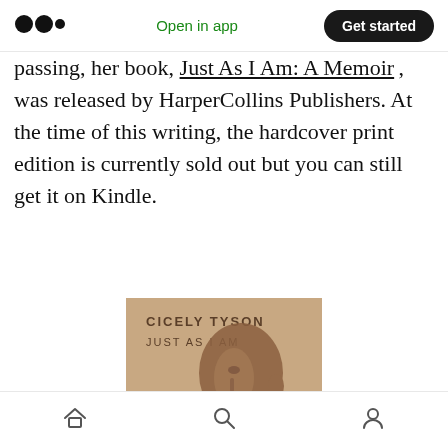Medium logo | Open in app | Get started
passing, her book, Just As I Am: A Memoir, was released by HarperCollins Publishers. At the time of this writing, the hardcover print edition is currently sold out but you can still get it on Kindle.
[Figure (photo): Book cover of 'Just As I Am' by Cicely Tyson, showing a side profile portrait of Cicely Tyson with a shaved head against a beige/tan background. Text reads: CICELY TYSON / JUST AS I AM]
Home | Search | Profile navigation icons